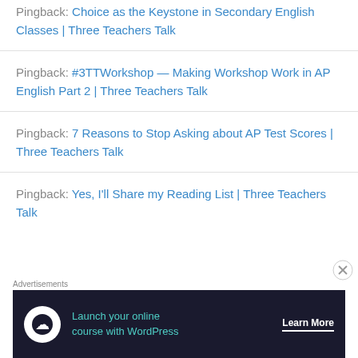Pingback: Choice as the Keystone in Secondary English Classes | Three Teachers Talk
Pingback: #3TTWorkshop — Making Workshop Work in AP English Part 2 | Three Teachers Talk
Pingback: 7 Reasons to Stop Asking about AP Test Scores | Three Teachers Talk
Pingback: Yes, I'll Share my Reading List | Three Teachers Talk
[Figure (other): Advertisement banner: Launch your online course with WordPress. Learn More button. Dark navy background with teal text and white button.]